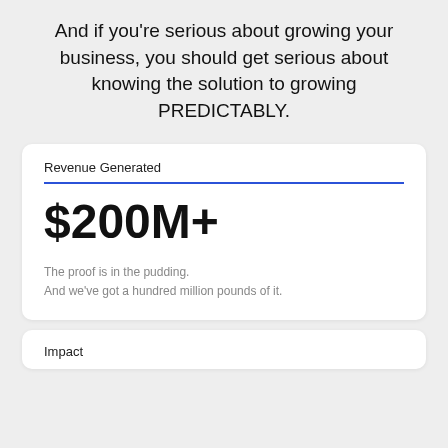And if you're serious about growing your business, you should get serious about knowing the solution to growing PREDICTABLY.
[Figure (infographic): White card showing 'Revenue Generated' label with blue underline, large bold '$200M+' value, and subtext 'The proof is in the pudding. And we've got a hundred million pounds of it.']
Impact